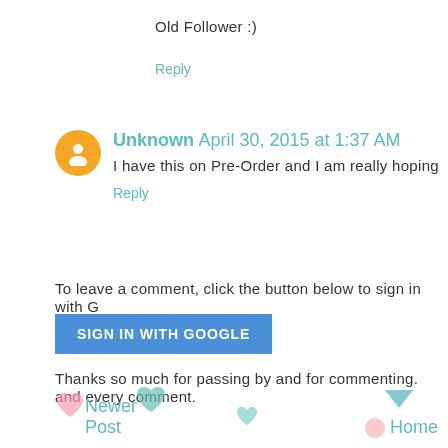Old Follower :)
Reply
Unknown April 30, 2015 at 1:37 AM
I have this on Pre-Order and I am really hoping
Reply
To leave a comment, click the button below to sign in with G
SIGN IN WITH GOOGLE
Thanks so much for passing by and for commenting. and every comment.
Newer Post
Home